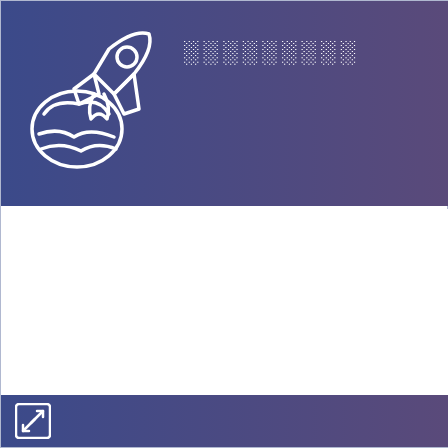[Figure (logo): Dark blue-purple header bar with a rocket/launch icon on the left side and placeholder text (rendered as squares indicating missing characters) to the right of the icon]
░░░░░░░░░
[Figure (logo): Small expand/compress icon in the bottom left corner of a dark blue-purple footer bar]